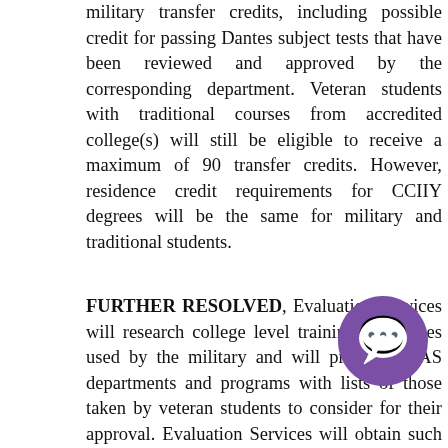military transfer credits, including possible credit for passing Dantes subject tests that have been reviewed and approved by the corresponding department. Veteran students with traditional courses from accredited college(s) will still be eligible to receive a maximum of 90 transfer credits. However, residence credit requirements for CCIIY degrees will be the same for military and traditional students.
FURTHER RESOLVED, Evaluation Services will research college level training or courses used by the military and will provide CLAS departments and programs with lists of those taken by veteran students to consider for their approval. Evaluation Services will obtain such material as the CLAS department deems necessary for evaluation, such as course descriptions, classroom hours, ACE (American Council on Education) Military Programs Guide recommendations and syllabi. The CLAS